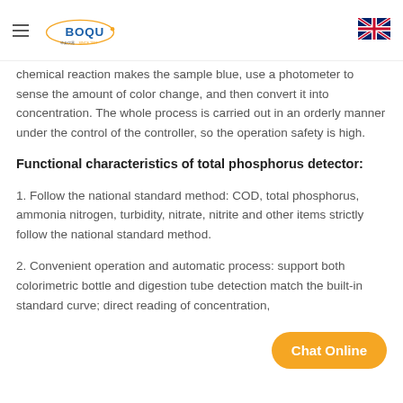BOQU — SINCE 2007
chemical reaction makes the sample blue, use a photometer to sense the amount of color change, and then convert it into concentration. The whole process is carried out in an orderly manner under the control of the controller, so the operation safety is high.
Functional characteristics of total phosphorus detector:
1. Follow the national standard method: COD, total phosphorus, ammonia nitrogen, turbidity, nitrate, nitrite and other items strictly follow the national standard method.
2. Convenient operation and automatic process: support both colorimetric bottle and digestion tube detection match the built-in standard curve; direct reading of concentration,